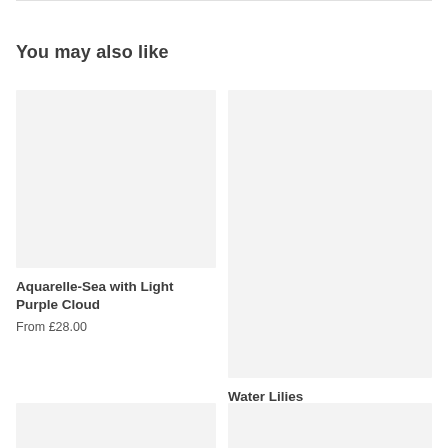You may also like
[Figure (photo): Placeholder image box for Aquarelle-Sea with Light Purple Cloud product]
Aquarelle-Sea with Light Purple Cloud
From £28.00
[Figure (photo): Placeholder image box for Water Lilies product]
Water Lilies
From £32.00
[Figure (photo): Placeholder image box for partially visible bottom-left product]
[Figure (photo): Placeholder image box for partially visible bottom-right product]